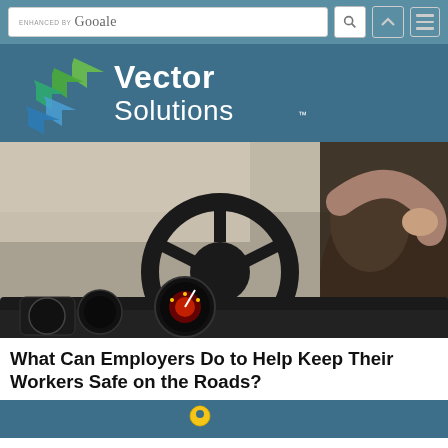ENHANCED BY Google [search bar with icons]
[Figure (logo): Vector Solutions logo on dark blue/teal background — green and blue angular chevron/arrow graphic mark to the left, white text reading 'Vector Solutions' to the right]
[Figure (photo): Close-up photograph of a person driving a car, viewed from behind/side, hand on steering wheel, dashboard and gauges visible, blurred background]
What Can Employers Do to Help Keep Their Workers Safe on the Roads?
[Figure (photo): Partial view of another image at the bottom — teal/blue background, partially visible]